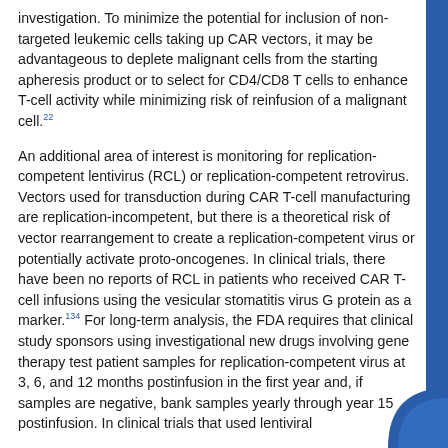investigation. To minimize the potential for inclusion of non-targeted leukemic cells taking up CAR vectors, it may be advantageous to deplete malignant cells from the starting apheresis product or to select for CD4/CD8 T cells to enhance T-cell activity while minimizing risk of reinfusion of a malignant cell.22
An additional area of interest is monitoring for replication-competent lentivirus (RCL) or replication-competent retrovirus. Vectors used for transduction during CAR T-cell manufacturing are replication-incompetent, but there is a theoretical risk of vector rearrangement to create a replication-competent virus or potentially activate proto-oncogenes. In clinical trials, there have been no reports of RCL in patients who received CAR T-cell infusions using the vesicular stomatitis virus G protein as a marker.134 For long-term analysis, the FDA requires that clinical study sponsors using investigational new drugs involving gene therapy test patient samples for replication-competent virus at 3, 6, and 12 months postinfusion in the first year and, if samples are negative, bank samples yearly through year 15 postinfusion. In clinical trials that used lentiviral